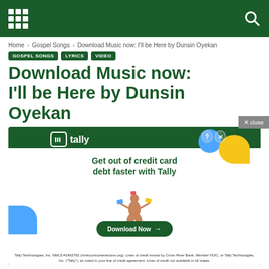Home › Gospel Songs › Download Music now: I'll be Here by Dunsin Oyekan
GOSPEL SONGS   LYRICS   VIDEO
Download Music now: I'll be Here by Dunsin Oyekan
[Figure (infographic): Tally advertisement: 'Get out of credit card debt faster with Tally' with Download Now button, decorative blue/yellow shapes, and small disclaimer text]